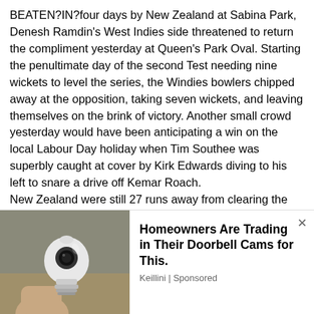BEATEN?IN?four days by New Zealand at Sabina Park, Denesh Ramdin's West Indies side threatened to return the compliment yesterday at Queen's Park Oval. Starting the penultimate day of the second Test needing nine wickets to level the series, the Windies bowlers chipped away at the opposition, taking seven wickets, and leaving themselves on the brink of victory. Another small crowd yesterday would have been anticipating a win on the local Labour Day holiday when Tim Southee was superbly caught at cover by Kirk Edwards diving to his left to snare a drive off Kemar Roach. New Zealand were still 27 runs away from clearing the 239-run deficit to make the Windies bat again and Mark Craig was coming to the crease to join wicketkeeper B.J. Watling. One hour and 44 minutes later, Watling (38 not out) and
[Figure (photo): Advertisement overlay showing a smart light bulb product photo on the left and ad text on the right reading 'Homeowners Are Trading in Their Doorbell Cams for This.' sponsored by Keillini]